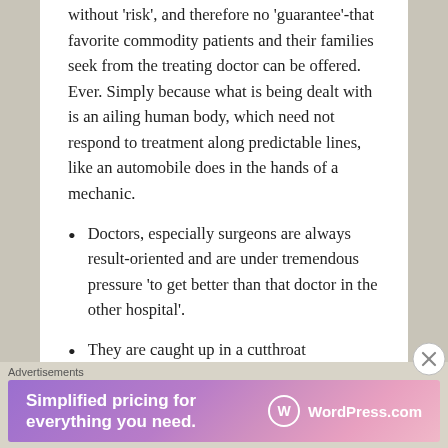without 'risk', and therefore no 'guarantee'-that favorite commodity patients and their families seek from the treating doctor can be offered. Ever. Simply because what is being dealt with is an ailing human body, which need not respond to treatment along predictable lines, like an automobile does in the hands of a mechanic.
Doctors, especially surgeons are always result-oriented and are under tremendous pressure 'to get better than that doctor in the other hospital'.
They are caught up in a cutthroat competition brought about by mushrooming of hospitals offering quality care, especially in the corporate
[Figure (infographic): WordPress.com advertisement banner: 'Simplified pricing for everything you need.' with WordPress.com logo on a purple-pink gradient background.]